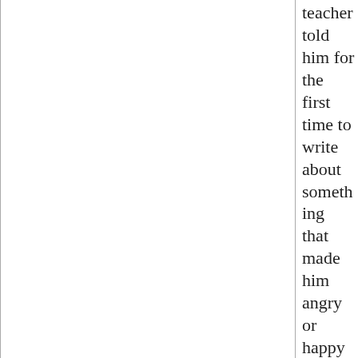teacher told him for the first time to write about something that made him angry or happy